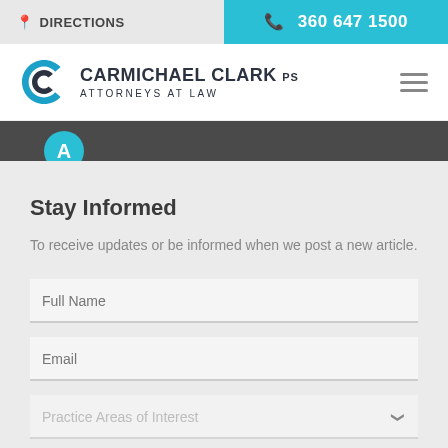DIRECTIONS | 360 647 1500
[Figure (logo): Carmichael Clark PS - Attorneys at Law logo with stylized CC monogram in blue]
Stay Informed
To receive updates or be informed when we post a new article.
Full Name
Email
Practice Areas of Interest